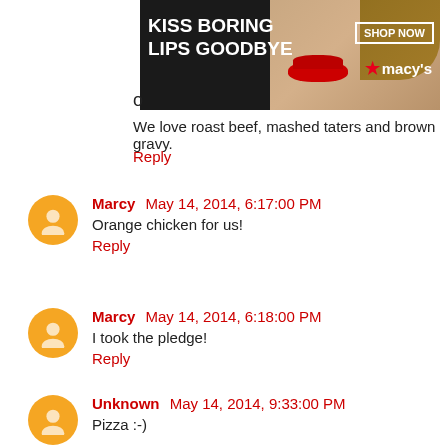[Figure (photo): Macy's advertisement banner: dark background, woman's face with red lipstick, text 'KISS BORING LIPS GOODBYE', 'SHOP NOW' button, Macy's logo with star]
We love roast beef, mashed taters and brown gravy.
Reply
Marcy  May 14, 2014, 6:17:00 PM
Orange chicken for us!
Reply
Marcy  May 14, 2014, 6:18:00 PM
I took the pledge!
Reply
Unknown  May 14, 2014, 9:33:00 PM
Pizza :-)